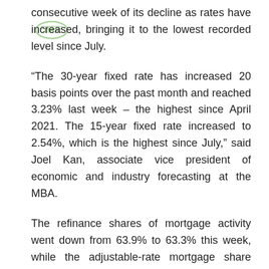consecutive week of its decline as rates have increased, bringing it to the lowest recorded level since July.
“The 30-year fixed rate has increased 20 basis points over the past month and reached 3.23% last week – the highest since April 2021. The 15-year fixed rate increased to 2.54%, which is the highest since July,” said Joel Kan, associate vice president of economic and industry forecasting at the MBA.
The refinance shares of mortgage activity went down from 63.9% to 63.3% this week, while the adjustable-rate mortgage share decreased to 3.3% of total applications.
Both the seasonally adjusted and unadjusted Purchase